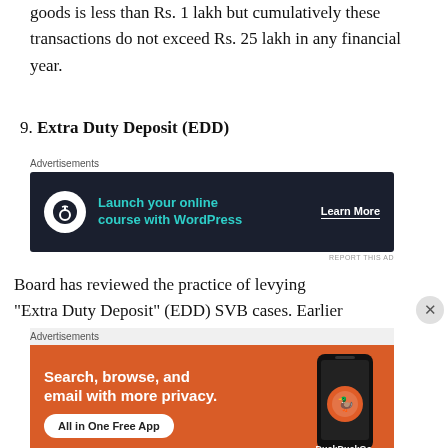goods is less than Rs. 1 lakh but cumulatively these transactions do not exceed Rs. 25 lakh in any financial year.
9. Extra Duty Deposit (EDD)
[Figure (other): Advertisement banner: Launch your online course with WordPress — Learn More]
Board has reviewed the practice of levying "Extra Duty Deposit" (EDD) SVB cases. Earlier
[Figure (other): Advertisement banner: DuckDuckGo — Search, browse, and email with more privacy. All in One Free App]